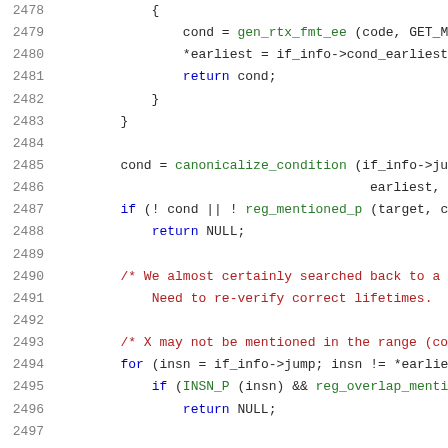[Figure (screenshot): Source code listing lines 2478-2498 in C programming language with syntax highlighting. Line numbers in gray on left, keywords in blue, function calls in green, comments in red/dark red, identifiers in dark color.]